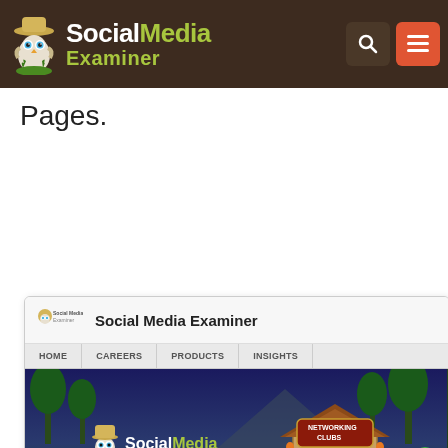[Figure (screenshot): Social Media Examiner website header with logo, search icon, and hamburger menu on dark brown background]
Pages.
[Figure (screenshot): Screenshot of Social Media Examiner Facebook page showing the page header, navigation tabs (HOME, CAREERS, PRODUCTS, INSIGHTS), a jungle-themed cover image with 'Networking Clubs' graphic, a RECENT UPDATES bar, a post about '3 Ways to Grow Your Email List With Twitter', and a link preview card]